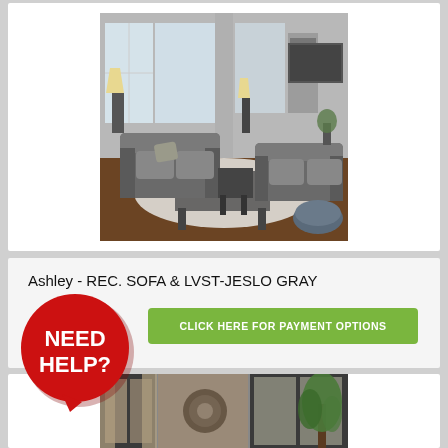[Figure (photo): Living room scene showing gray reclining sofa and loveseat set (Jeslo Gray) with coffee table, end tables, decorative lamps, artwork on wall, and a blue knit pouf ottoman on a white rug. Bright windows in background.]
Ashley - REC. SOFA & LVST-JESLO GRAY
[Figure (infographic): Red speech bubble with bold white text reading NEED HELP?]
CLICK HERE FOR PAYMENT OPTIONS
[Figure (photo): Partial view of another furniture room scene - appears to be a bedroom or living area with dark window frames and a green plant.]